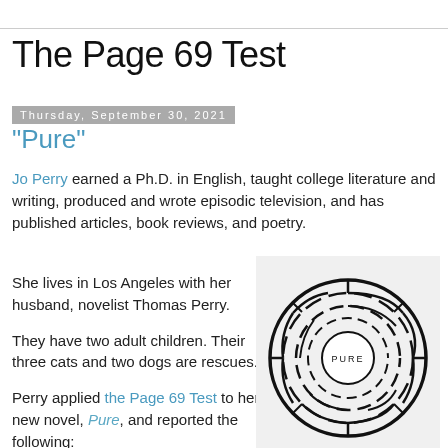The Page 69 Test
Thursday, September 30, 2021
"Pure"
Jo Perry earned a Ph.D. in English, taught college literature and writing, produced and wrote episodic television, and has published articles, book reviews, and poetry.
She lives in Los Angeles with her husband, novelist Thomas Perry.
They have two adult children. Their three cats and two dogs are rescues.
Perry applied the Page 69 Test to her new novel, Pure, and reported the following:
[Figure (illustration): Circular maze/labyrinth logo with the word PURE in the center, rendered in black and white lines on a light gray background.]